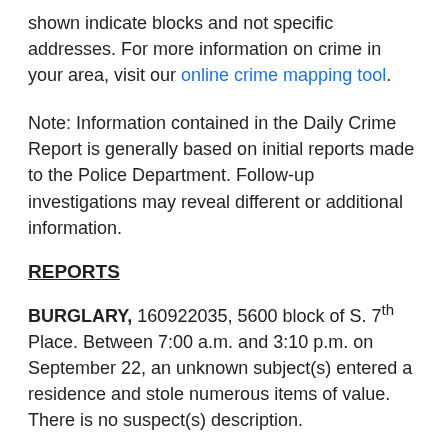shown indicate blocks and not specific addresses. For more information on crime in your area, visit our online crime mapping tool.
Note: Information contained in the Daily Crime Report is generally based on initial reports made to the Police Department. Follow-up investigations may reveal different or additional information.
REPORTS
BURGLARY, 160922035, 5600 block of S. 7th Place. Between 7:00 a.m. and 3:10 p.m. on September 22, an unknown subject(s) entered a residence and stole numerous items of value. There is no suspect(s) description.
STOLEN VEHICLES